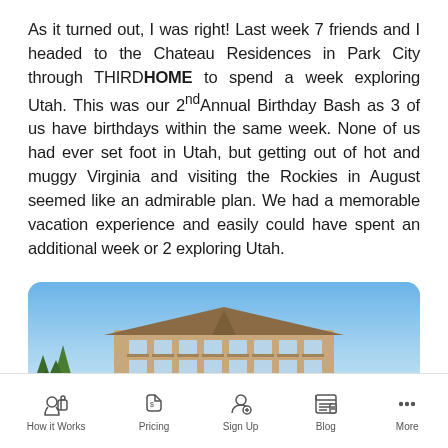As it turned out, I was right! Last week 7 friends and I headed to the Chateau Residences in Park City through THIRDHOME to spend a week exploring Utah. This was our 2nd Annual Birthday Bash as 3 of us have birthdays within the same week. None of us had ever set foot in Utah, but getting out of hot and muggy Virginia and visiting the Rockies in August seemed like an admirable plan. We had a memorable vacation experience and easily could have spent an additional week or 2 exploring Utah.
[Figure (photo): Exterior photo of Chateau Residences building in Park City with blue sky and trees]
How it Works | Pricing | Sign Up | Blog | More